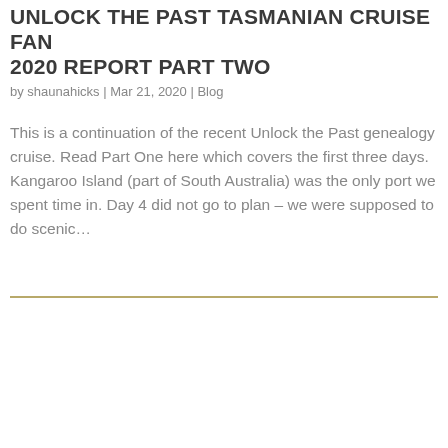UNLOCK THE PAST TASMANIAN CRUISE FAN 2020 REPORT PART TWO
by shaunahicks | Mar 21, 2020 | Blog
This is a continuation of the recent Unlock the Past genealogy cruise. Read Part One here which covers the first three days. Kangaroo Island (part of South Australia) was the only port we spent time in. Day 4 did not go to plan – we were supposed to do scenic...